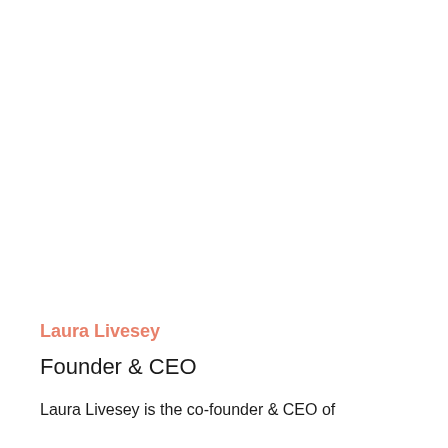Laura Livesey
Founder & CEO
Laura Livesey is the co-founder & CEO of